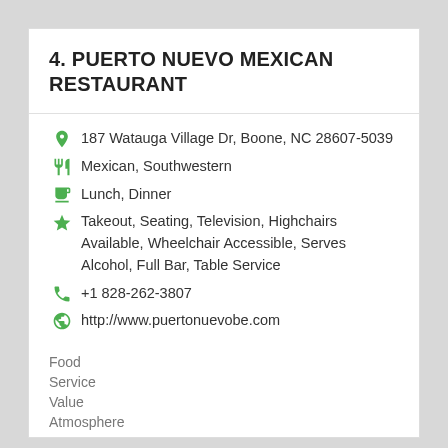4. PUERTO NUEVO MEXICAN RESTAURANT
187 Watauga Village Dr, Boone, NC 28607-5039
Mexican, Southwestern
Lunch, Dinner
Takeout, Seating, Television, Highchairs Available, Wheelchair Accessible, Serves Alcohol, Full Bar, Table Service
+1 828-262-3807
http://www.puertonuevobe.com
| Category | Rating |
| --- | --- |
| Food | 4/5 |
| Service | 4/5 |
| Value | 4/5 |
| Atmosphere | 4/5 |